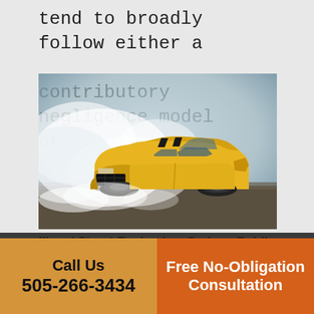tend to broadly follow either a contributory negligence model or...
[Figure (photo): Yellow classic muscle car doing a burnout surrounded by thick white smoke on a road]
Illegal Street Racing Is a Serious Public
Call Us
505-266-3434
Free No-Obligation Consultation